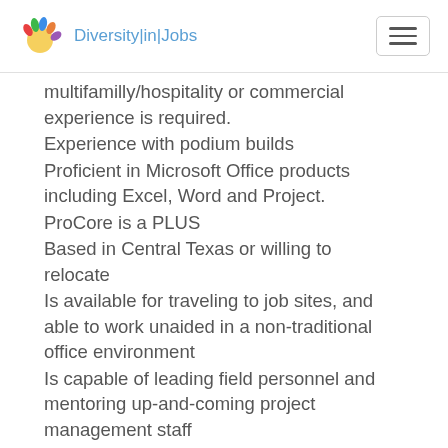Diversity|in|Jobs
multifamilly/hospitality or commercial experience is required.
Experience with podium builds
Proficient in Microsoft Office products including Excel, Word and Project.
ProCore is a PLUS
Based in Central Texas or willing to relocate
Is available for traveling to job sites, and able to work unaided in a non-traditional office environment
Is capable of leading field personnel and mentoring up-and-coming project management staff
What's In It for You Competitive base pay: